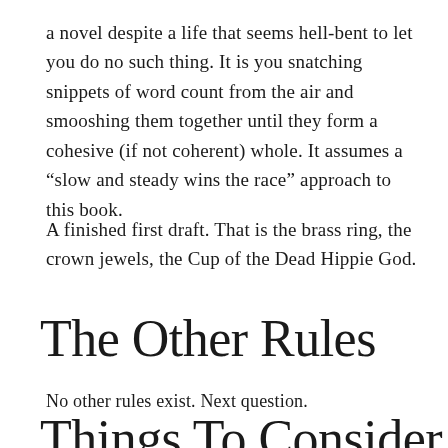a novel despite a life that seems hell-bent to let you do no such thing. It is you snatching snippets of word count from the air and smooshing them together until they form a cohesive (if not coherent) whole. It assumes a “slow and steady wins the race” approach to this book.
A finished first draft. That is the brass ring, the crown jewels, the Cup of the Dead Hippie God.
The Other Rules
No other rules exist. Next question.
Things To Consider